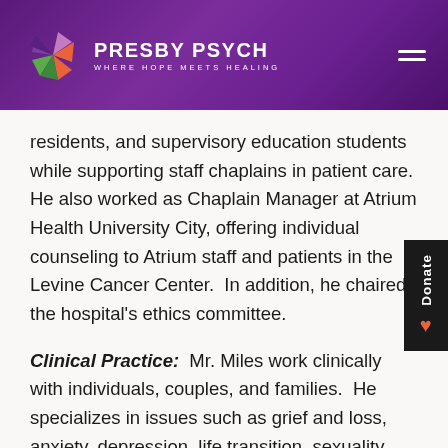PRESBY PSYCH — WHERE HOPE MEETS HEALING
residents, and supervisory education students while supporting staff chaplains in patient care. He also worked as Chaplain Manager at Atrium Health University City, offering individual counseling to Atrium staff and patients in the Levine Cancer Center. In addition, he chaired the hospital's ethics committee.
Clinical Practice: Mr. Miles work clinically with individuals, couples, and families. He specializes in issues such as grief and loss, anxiety, depression, life transition, sexuality, and relationship stress. In working with